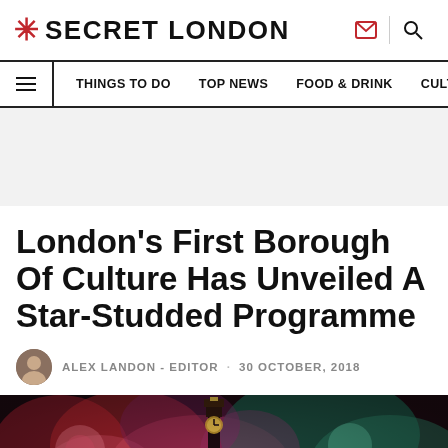* SECRET LONDON
THINGS TO DO   TOP NEWS   FOOD & DRINK   CULTURE
[Figure (other): Grey advertisement banner placeholder]
London's First Borough Of Culture Has Unveiled A Star-Studded Programme
ALEX LANDON - EDITOR · 30 OCTOBER, 2018
[Figure (photo): Dark artistic photo with colorful floral backdrop and a tall ornate clock tower or monument in the foreground]